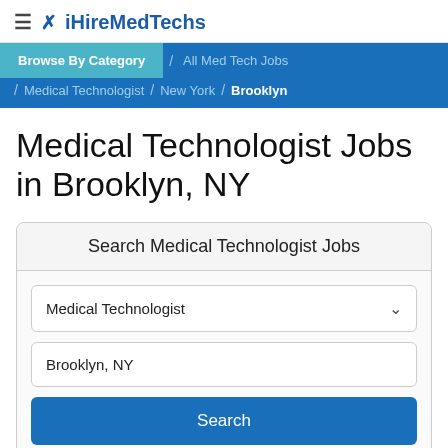≡ ✕ iHireMedTechs
Browse By Category / All Med Tech Jobs / Medical Technologist / New York / Brooklyn
Medical Technologist Jobs in Brooklyn, NY
Search Medical Technologist Jobs
Medical Technologist
Brooklyn, NY
Search